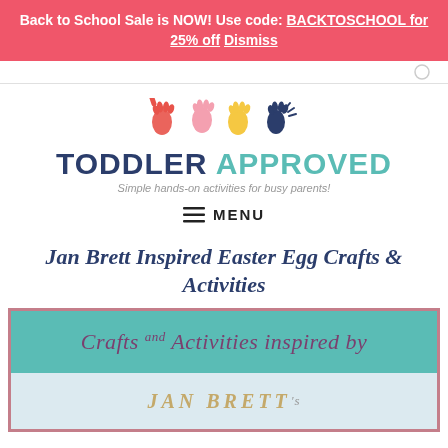Back to School Sale is NOW! Use code: BACKTOSCHOOL for 25% off Dismiss
[Figure (logo): Toddler Approved logo with colorful handprint icons and tagline 'Simple hands-on activities for busy parents!']
≡ MENU
Jan Brett Inspired Easter Egg Crafts & Activities
[Figure (illustration): Teal banner reading 'Crafts and Activities inspired by' in purple cursive, with a light blue bottom section showing 'JAN BRETT's' in gold italic text, partially showing an illustration]